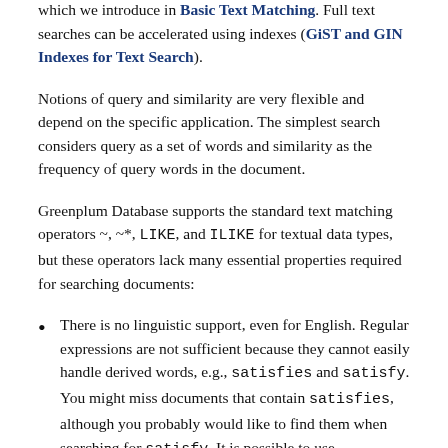which we introduce in Basic Text Matching. Full text searches can be accelerated using indexes (GiST and GIN Indexes for Text Search).
Notions of query and similarity are very flexible and depend on the specific application. The simplest search considers query as a set of words and similarity as the frequency of query words in the document.
Greenplum Database supports the standard text matching operators ~, ~*, LIKE, and ILIKE for textual data types, but these operators lack many essential properties required for searching documents:
There is no linguistic support, even for English. Regular expressions are not sufficient because they cannot easily handle derived words, e.g., satisfies and satisfy. You might miss documents that contain satisfies, although you probably would like to find them when searching for satisfy. It is possible to use